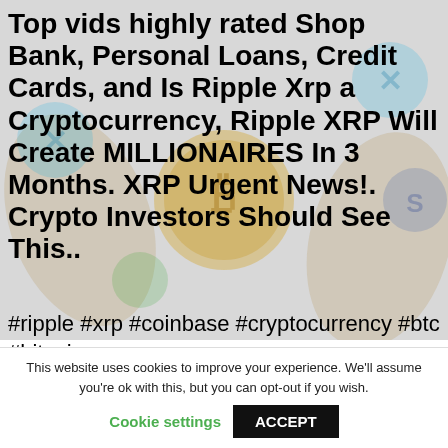[Figure (photo): Background image showing cryptocurrency coins, hands, and crypto logos (Ripple, Bitcoin, etc.) in muted gray tones]
Top vids highly rated Shop Bank, Personal Loans, Credit Cards, and Is Ripple Xrp a Cryptocurrency, Ripple XRP Will Create MILLIONAIRES In 3 Months. XRP Urgent News!. Crypto Investors Should See This..
#ripple #xrp #coinbase #cryptocurrency #btc #bitcoin
Brad Garlinghouse is the CEO of financial technology company Ripple
This website uses cookies to improve your experience. We'll assume you're ok with this, but you can opt-out if you wish.